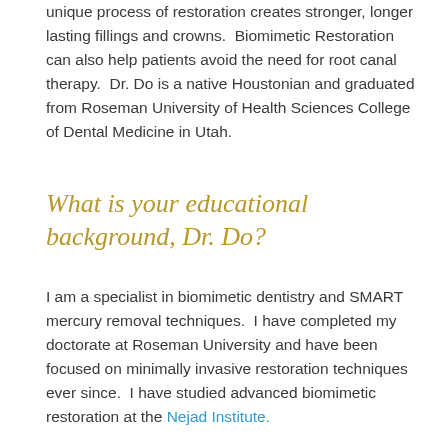unique process of restoration creates stronger, longer lasting fillings and crowns.  Biomimetic Restoration can also help patients avoid the need for root canal therapy.  Dr. Do is a native Houstonian and graduated from Roseman University of Health Sciences College of Dental Medicine in Utah.
What is your educational background, Dr. Do?
I am a specialist in biomimetic dentistry and SMART mercury removal techniques.  I have completed my doctorate at Roseman University and have been focused on minimally invasive restoration techniques ever since.  I have studied advanced biomimetic restoration at the Nejad Institute.